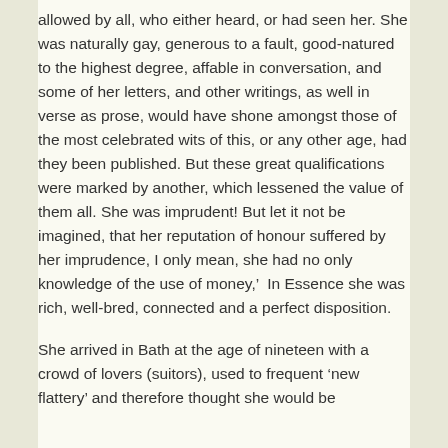allowed by all, who either heard, or had seen her. She was naturally gay, generous to a fault, good-natured to the highest degree, affable in conversation, and some of her letters, and other writings, as well in verse as prose, would have shone amongst those of the most celebrated wits of this, or any other age, had they been published. But these great qualifications were marked by another, which lessened the value of them all. She was imprudent! But let it not be imagined, that her reputation of honour suffered by her imprudence, I only mean, she had no only knowledge of the use of money,'  In Essence she was rich, well-bred, connected and a perfect disposition.
She arrived in Bath at the age of nineteen with a crowd of lovers (suitors), used to frequent 'new flattery' and therefore thought she would be